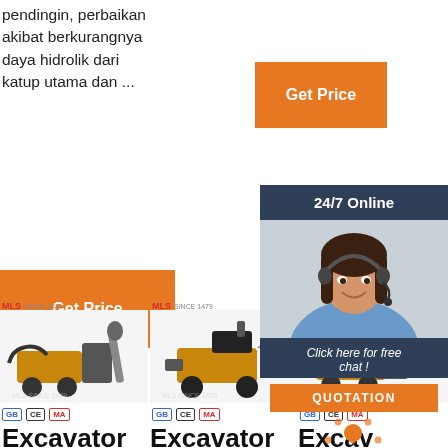pendingin, perbaikan akibat berkurangnya daya hidrolik dari katup utama dan ...
[Figure (other): Orange 'Get Price' button (top right area)]
[Figure (other): Orange 'Get Price' button (left, lower)]
[Figure (other): 24/7 Online customer service chat widget with photo of woman with headset, 'Click here for free chat!' text and orange QUOTATION button]
[Figure (photo): Industrial pump/plastering machine product image, column 1, with brand logo MLS SINCE 1979]
[Figure (photo): Industrial pump/plastering machine product image, column 2, with brand logo MLS SINCE 1979]
[Figure (photo): Industrial product image column 3, partially obscured by chat widget, with brand logo MLS]
Excavator Sizes: Which C...
Excavator Size Sh...
Excavator Market R...